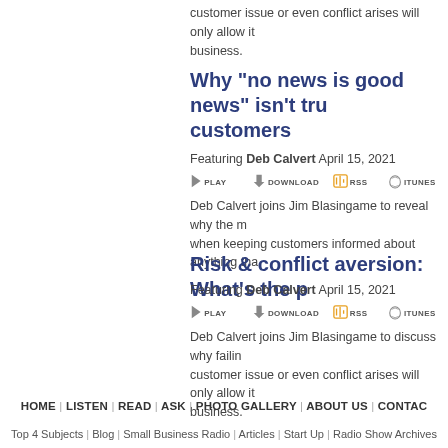customer issue or even conflict arises will only allow it business.
Why "no news is good news" isn't true with customers
Featuring Deb Calvert April 15, 2021
[Figure (other): Media control buttons: PLAY, DOWNLOAD, RSS, ITUNES]
Deb Calvert joins Jim Blasingame to reveal why the m when keeping customers informed about anything tha
Risk & conflict aversion: What's the p
Featuring Deb Calvert April 15, 2021
[Figure (other): Media control buttons: PLAY, DOWNLOAD, RSS, ITUNES]
Deb Calvert joins Jim Blasingame to discuss why failin customer issue or even conflict arises will only allow it business.
HOME | LISTEN | READ | ASK | PHOTO GALLERY | ABOUT US | CONTAC
Top 4 Subjects | Blog | Small Business Radio | Articles | Start Up | Radio Show Archives